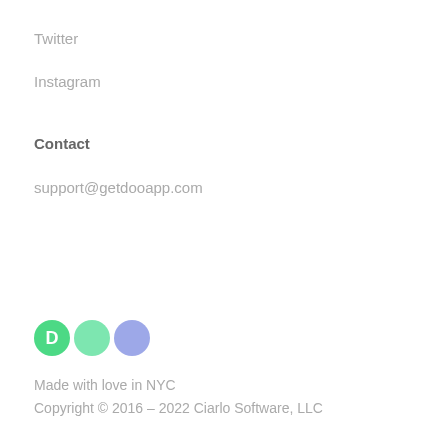Twitter
Instagram
Contact
support@getdooapp.com
[Figure (logo): Doo app logo consisting of three circles: a green D-shaped circle, a mint green circle, and a purple/lavender circle]
Made with love in NYC
Copyright © 2016 – 2022 Ciarlo Software, LLC